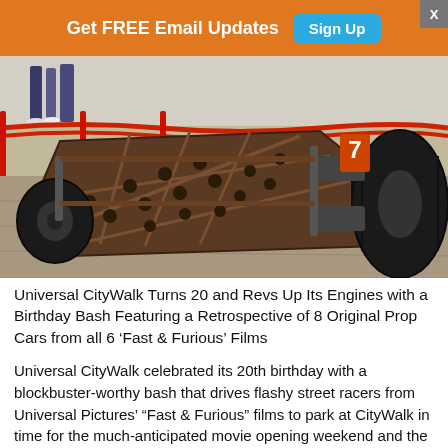Get FREE Email Updates  Sign Up
[Figure (photo): Low-angle photo of a race car chassis/frame with large tires, showing a perforated flat floor panel from the Fast & Furious film series, displayed outdoors with people visible in background]
Universal CityWalk Turns 20 and Revs Up Its Engines with a Birthday Bash Featuring a Retrospective of 8 Original Prop Cars from all 6 ‘Fast & Furious’ Films
Universal CityWalk celebrated its 20th birthday with a blockbuster-worthy bash that drives flashy street racers from Universal Pictures’ “Fast & Furious” films to park at CityWalk in time for the much-anticipated movie opening weekend and the launch of the summer blockbuster season. A life-